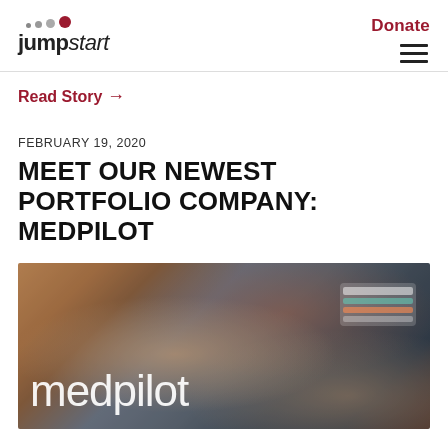jumpstart | Donate
Read Story →
FEBRUARY 19, 2020
MEET OUR NEWEST PORTFOLIO COMPANY: MEDPILOT
[Figure (photo): Person typing on a tablet device with the medpilot logo overlaid in white text]